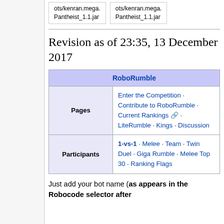ots/kenran.mega.
Pantheist_1.1.jar
ots/kenran.mega.
Pantheist_1.1.jar
Revision as of 23:35, 13 December 2017
| RoboRumble |
| --- |
| Pages | Enter the Competition · Contribute to RoboRumble · Current Rankings · LiteRumble · Kings · Discussion |
| Participants | 1-vs-1 · Melee · Team · Twin Duel · Giga Rumble · Melee Top 30 · Ranking Flags |
Just add your bot name (as appears in the Robocode selector after